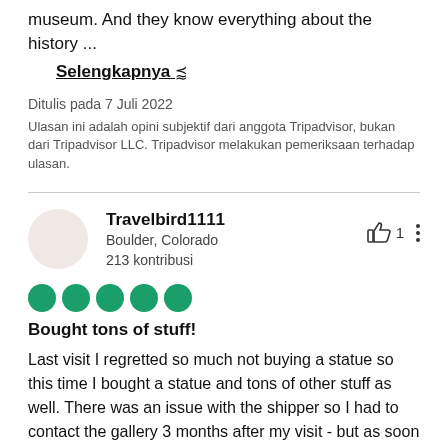museum. And they know everything about the history ...
Selengkapnya ∨
Ditulis pada 7 Juli 2022
Ulasan ini adalah opini subjektif dari anggota Tripadvisor, bukan dari Tripadvisor LLC. Tripadvisor melakukan pemeriksaan terhadap ulasan.
Travelbird1111
Boulder, Colorado
213 kontribusi
Bought tons of stuff!
Last visit I regretted so much not buying a statue so this time I bought a statue and tons of other stuff as well. There was an issue with the shipper so I had to contact the gallery 3 months after my visit - but as soon as they were aware my things weren't shipped (unclear reason,) they contacted the shipper and got things moving fast. It arrived in good condition